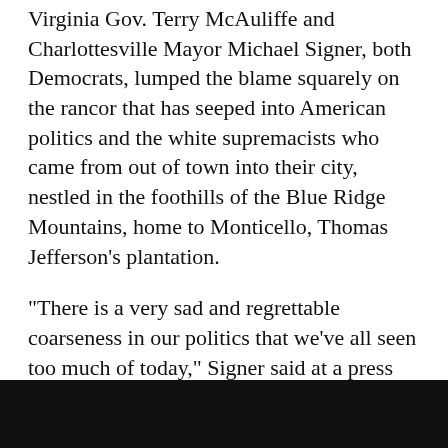Virginia Gov. Terry McAuliffe and Charlottesville Mayor Michael Signer, both Democrats, lumped the blame squarely on the rancor that has seeped into American politics and the white supremacists who came from out of town into their city, nestled in the foothills of the Blue Ridge Mountains, home to Monticello, Thomas Jefferson's plantation.
"There is a very sad and regrettable coarseness in our politics that we've all seen too much of today," Signer said at a press conference. "Our opponents have become our enemies, debate has become intimidation."
Some of the white nationalists at Saturday's rally cited President Donald Trump's victory after a